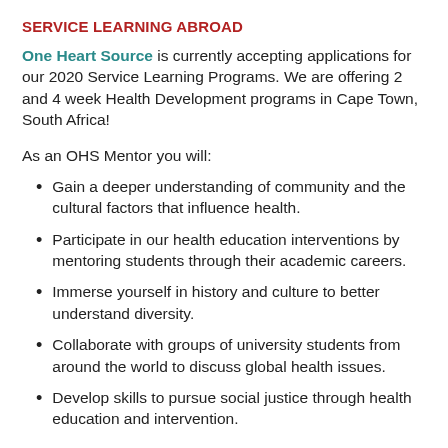SERVICE LEARNING ABROAD
One Heart Source is currently accepting applications for our 2020 Service Learning Programs. We are offering 2 and 4 week Health Development programs in Cape Town, South Africa!
As an OHS Mentor you will:
Gain a deeper understanding of community and the cultural factors that influence health.
Participate in our health education interventions by mentoring students through their academic careers.
Immerse yourself in history and culture to better understand diversity.
Collaborate with groups of university students from around the world to discuss global health issues.
Develop skills to pursue social justice through health education and intervention.